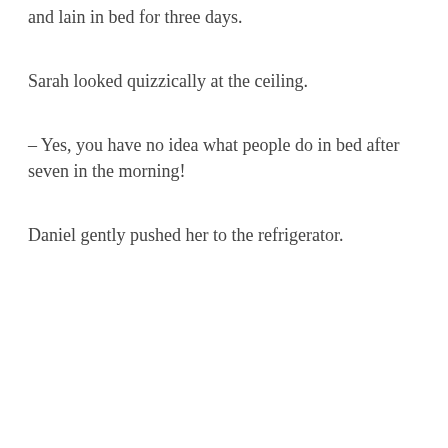and lain in bed for three days.
Sarah looked quizzically at the ceiling.
– Yes, you have no idea what people do in bed after seven in the morning!
Daniel gently pushed her to the refrigerator.
– Well, if the number were chocolate, wine, and you
[Figure (other): BongaCams advertisement overlay with red gradient background, yellow border, cursive BongaCams logo, text 'SHE WILL DO ANYTHING YO' (truncated), and green 'CLICK HERE!' button]